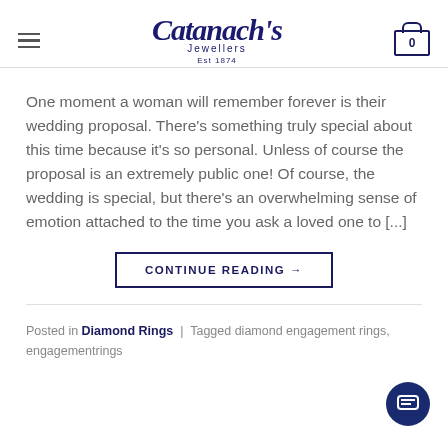Catanach's Jewellers Est 1874
One moment a woman will remember forever is their wedding proposal. There's something truly special about this time because it's so personal. Unless of course the proposal is an extremely public one! Of course, the wedding is special, but there's an overwhelming sense of emotion attached to the time you ask a loved one to [...]
CONTINUE READING →
Posted in Diamond Rings | Tagged diamond engagement rings, engagementrings